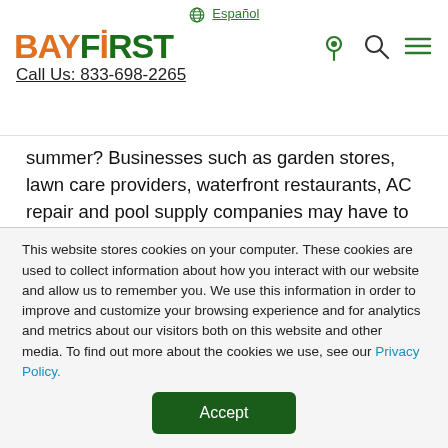⊕ Español | BAYFIRST | Call Us: 833-698-2265
summer? Businesses such as garden stores, lawn care providers, waterfront restaurants, AC repair and pool supply companies may have to increase their staff. Some businesses may need to decrease staff based on customer demand. Others will consider taking on interns while high school and college
This website stores cookies on your computer. These cookies are used to collect information about how you interact with our website and allow us to remember you. We use this information in order to improve and customize your browsing experience and for analytics and metrics about our visitors both on this website and other media. To find out more about the cookies we use, see our Privacy Policy.
Accept